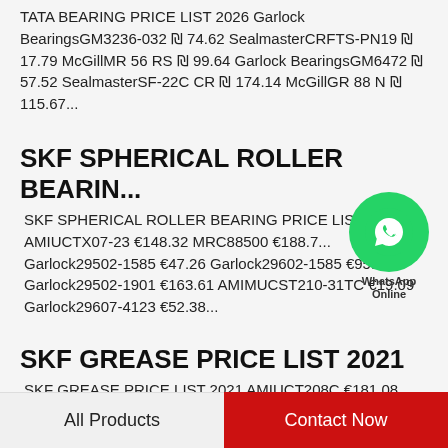TATA BEARING PRICE LIST 2026 Garlock BearingsGM3236-032 ₪ 74.62 SealmasterCRFTS-PN19 ₪ 17.79 McGillMR 56 RS ₪ 99.64 Garlock BearingsGM6472 ₪ 57.52 SealmasterSF-22C CR ₪ 174.14 McGillGR 88 N ₪ 115.67...
SKF SPHERICAL ROLLER BEARIN...
SKF SPHERICAL ROLLER BEARING PRICE LIST AMIUCTX07-23 €148.32 MRC88500 €188.7... Garlock29502-1585 €47.26 Garlock29602-1585 €95.49 Garlock29502-1901 €163.61 AMIMUCST210-31TC €19.09 Garlock29607-4123 €52.38...
SKF GREASE PRICE LIST 2021
SKF GREASE PRICE LIST 2021 AMIUCT208C €181.08 AMIUCNST206-19NP €84.41
All Products    Contact Now